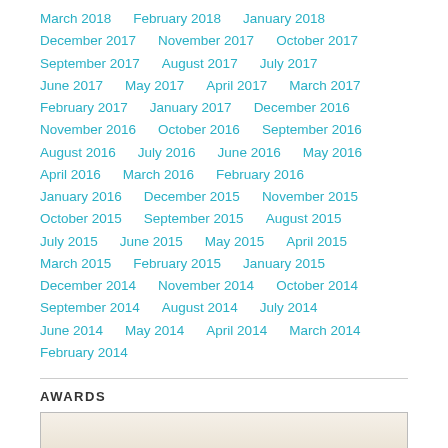March 2018 | February 2018 | January 2018 | December 2017 | November 2017 | October 2017 | September 2017 | August 2017 | July 2017 | June 2017 | May 2017 | April 2017 | March 2017 | February 2017 | January 2017 | December 2016 | November 2016 | October 2016 | September 2016 | August 2016 | July 2016 | June 2016 | May 2016 | April 2016 | March 2016 | February 2016 | January 2016 | December 2015 | November 2015 | October 2015 | September 2015 | August 2015 | July 2015 | June 2015 | May 2015 | April 2015 | March 2015 | February 2015 | January 2015 | December 2014 | November 2014 | October 2014 | September 2014 | August 2014 | July 2014 | June 2014 | May 2014 | April 2014 | March 2014 | February 2014
AWARDS
[Figure (photo): Partially visible award image at bottom of page]